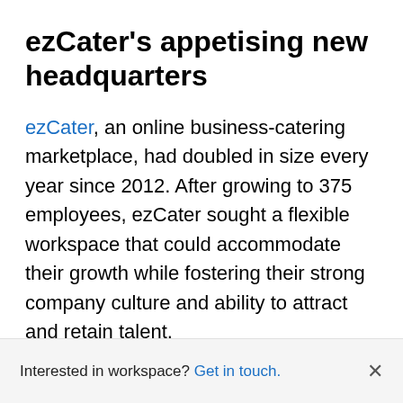ezCater's appetising new headquarters
ezCater, an online business-catering marketplace, had doubled in size every year since 2012. After growing to 375 employees, ezCater sought a flexible workspace that could accommodate their growth while fostering their strong company culture and ability to attract and retain talent.
The company moved their headquarters to a
Interested in workspace? Get in touch. ×